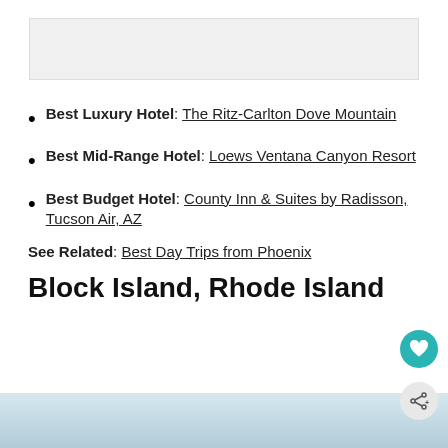[Figure (photo): Top image placeholder, light gray background]
Best Luxury Hotel: The Ritz-Carlton Dove Mountain
Best Mid-Range Hotel: Loews Ventana Canyon Resort
Best Budget Hotel: County Inn & Suites by Radisson, Tucson Air, AZ
See Related: Best Day Trips from Phoenix
Block Island, Rhode Island
[Figure (photo): Bottom image strip showing building exterior]